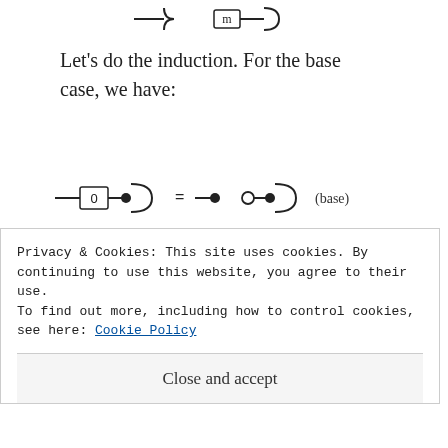[Figure (schematic): Partial top of page showing a circuit/diagram snippet with box labeled m]
Let's do the induction. For the base case, we have:
[Figure (schematic): Three lines of circuit/categorical diagram equations labeled (base), (B3), and (CoUnit) showing wire, box-0, and cup/comultiplication diagrams]
Privacy & Cookies: This site uses cookies. By continuing to use this website, you agree to their use.
To find out more, including how to control cookies, see here: Cookie Policy
Close and accept